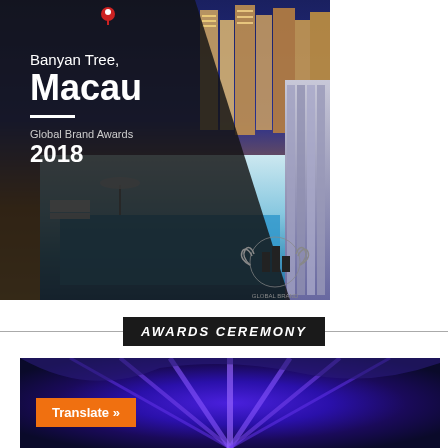[Figure (photo): Hotel promotional image for Banyan Tree, Macau showing luxury pool area and city skyline with award badge, overlaid with dark diamond-shaped panel containing hotel name and Global Brand Awards 2018 text]
AWARDS CEREMONY
[Figure (photo): Awards ceremony venue photo with dramatic blue/purple stage lighting]
Translate »